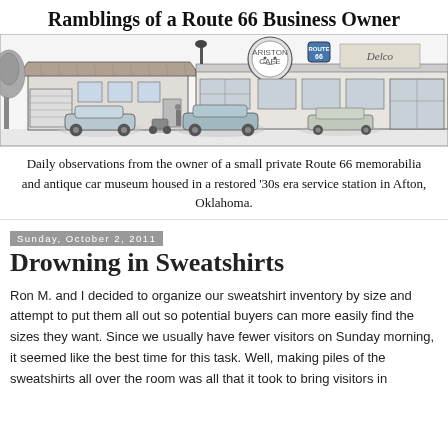Ramblings of a Route 66 Business Owner
[Figure (illustration): Black and white illustrated drawing of a Route 66 roadside business strip showing a vintage service station with tiled roof, antique cars parked in front, and various storefronts including one with a Route 66 shield sign. Trees visible on the left.]
Daily observations from the owner of a small private Route 66 memorabilia and antique car museum housed in a restored '30s era service station in Afton, Oklahoma.
Sunday, October 2, 2011
Drowning in Sweatshirts
Ron M. and I decided to organize our sweatshirt inventory by size and attempt to put them all out so potential buyers can more easily find the sizes they want. Since we usually have fewer visitors on Sunday morning, it seemed like the best time for this task. Well, making piles of the sweatshirts all over the room was all that it took to bring visitors in droves (We will have to try that trick more often!) Whil...